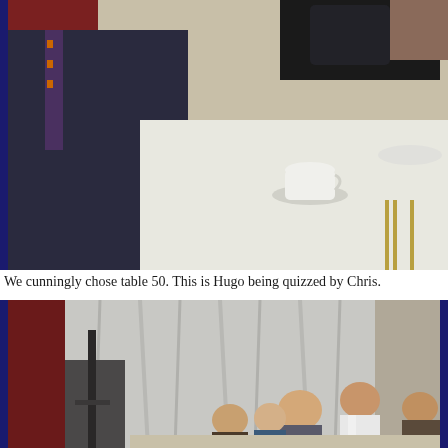[Figure (photo): A man in a dark suit with a striped tie sits at a formal dining table set with white tablecloth, white cups on saucers, plates, and gold cutlery. Another person is partially visible at the top of the image. The photo has a dark blue border on the left side.]
We cunningly chose table 50. This is Hugo being quizzed by Chris.
[Figure (photo): A group of people seated at tables in a formal room with draped white curtains in the background and red curtains on the left. A person in a white uniform top is visible on the right side. The photo has a dark blue border on the left and right sides.]